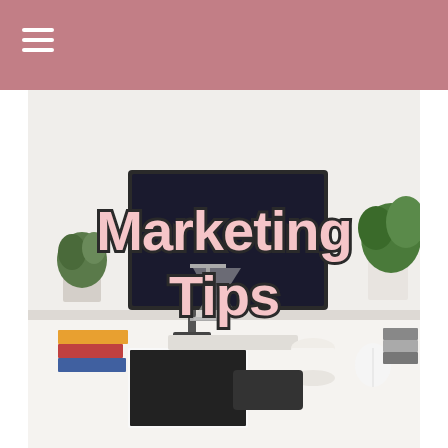[Figure (photo): Marketing Tips banner image showing a white desk with a computer monitor, plants, books, keyboard, coffee cup, and office supplies, with pink outlined text reading 'Marketing Tips' overlaid]
[Figure (photo): Strip of bookshelf/audio equipment images across the page]
Need more helpful tips and resources for your music?
First Name
Your email
Submit!